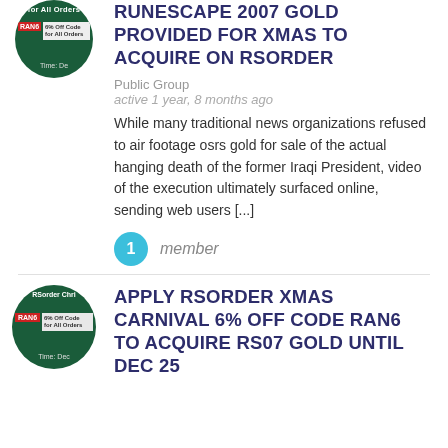[Figure (logo): RSorder Christmas promo circular logo with RAN6 badge and 6% Off Code text, dark green circle]
RUNESCAPE 2007 GOLD PROVIDED FOR XMAS TO ACQUIRE ON RSORDER
Public Group
active 1 year, 8 months ago
While many traditional news organizations refused to air footage osrs gold for sale of the actual hanging death of the former Iraqi President, video of the execution ultimately surfaced online, sending web users [...]
1 member
[Figure (logo): RSorder Christmas promo circular logo with RAN6 badge and 6% Off Code for All Orders text, dark green circle, Time: Dec label]
APPLY RSORDER XMAS CARNIVAL 6% OFF CODE RAN6 TO ACQUIRE RS07 GOLD UNTIL DEC 25